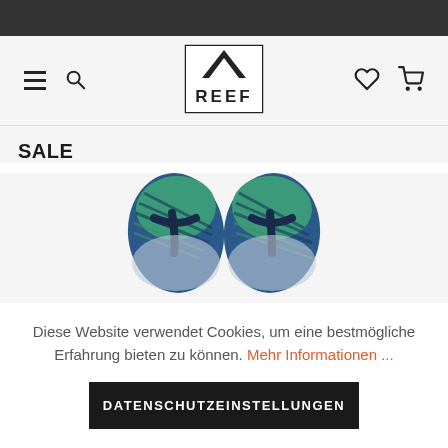REEF — Navigation bar with hamburger menu, search, logo, heart and cart icons
SALE
[Figure (photo): Top-down view of a pair of Reef flip flops/sandals with blue, teal, and striped patterned footbeds and dark navy straps]
Diese Website verwendet Cookies, um eine bestmögliche Erfahrung bieten zu können. Mehr Informationen ...
DATENSCHUTZEINSTELLUNGEN
COOKIES AKZEPTIEREN